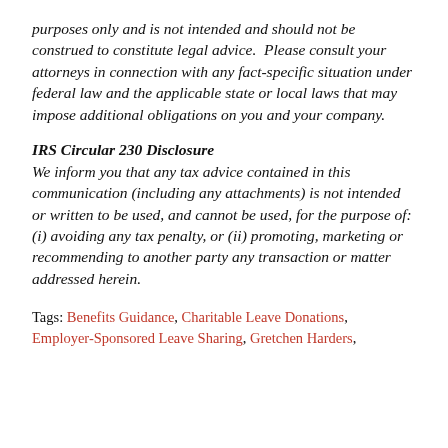purposes only and is not intended and should not be construed to constitute legal advice.  Please consult your attorneys in connection with any fact-specific situation under federal law and the applicable state or local laws that may impose additional obligations on you and your company.
IRS Circular 230 Disclosure
We inform you that any tax advice contained in this communication (including any attachments) is not intended or written to be used, and cannot be used, for the purpose of: (i) avoiding any tax penalty, or (ii) promoting, marketing or recommending to another party any transaction or matter addressed herein.
Tags: Benefits Guidance, Charitable Leave Donations, Employer-Sponsored Leave Sharing, Gretchen Harders,